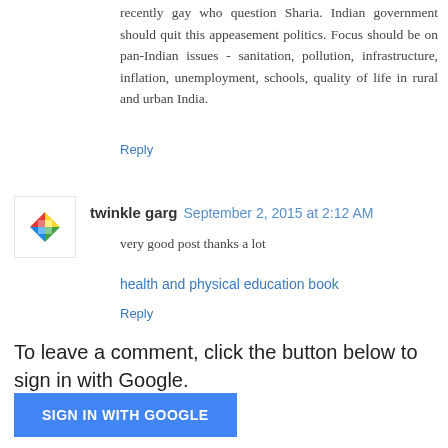recently gay who question Sharia. Indian government should quit this appeasement politics. Focus should be on pan-Indian issues - sanitation, pollution, infrastructure, inflation, unemployment, schools, quality of life in rural and urban India.
Reply
twinkle garg  September 2, 2015 at 2:12 AM
very good post thanks a lot
health and physical education book
Reply
To leave a comment, click the button below to sign in with Google.
SIGN IN WITH GOOGLE